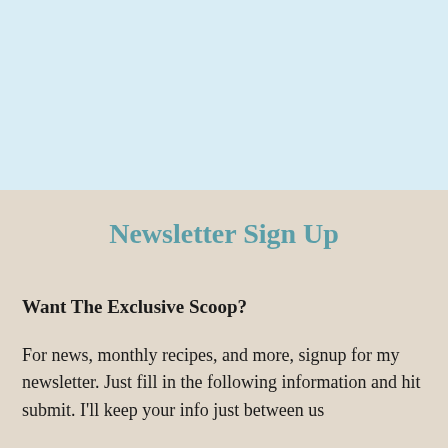[Figure (other): Light blue background rectangle occupying the top portion of the page]
Newsletter Sign Up
Want The Exclusive Scoop?
For news, monthly recipes, and more, signup for my newsletter. Just fill in the following information and hit submit. I'll keep your info just between us